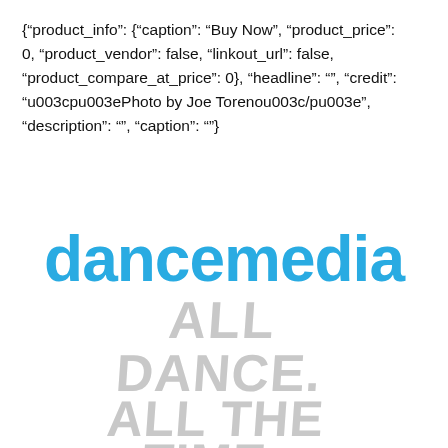{"product_info": {"caption": "Buy Now", "product_price": 0, "product_vendor": false, "linkout_url": false, "product_compare_at_price": 0}, "headline": "", "credit": "\u003cp\u003ePhoto by Joe Torenou\u003c/p\u003e", "description": "", "caption": ""}
[Figure (logo): dancemedia logo in bold blue sans-serif text]
[Figure (illustration): Gray stylized text reading ALL DANCE. ALL THE TIME. in a hand-lettered brush font]